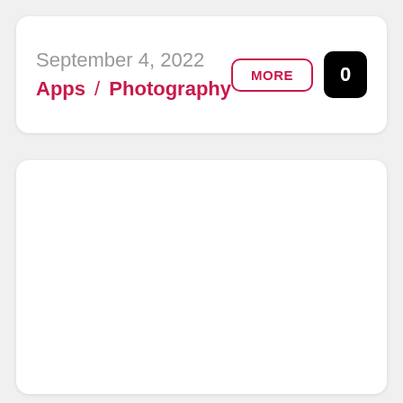September 4, 2022
Apps / Photography
MORE
0